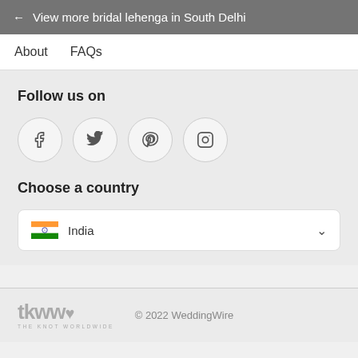← View more bridal lehenga in South Delhi
About    FAQs
Follow us on
[Figure (other): Social media icons: Facebook, Twitter, Pinterest, Instagram in circular bordered buttons]
Choose a country
India
tkww THE KNOT WORLDWIDE  © 2022 WeddingWire